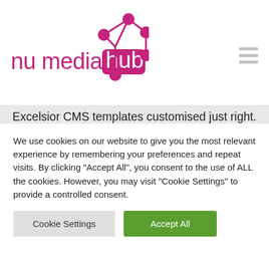[Figure (logo): Nu Media Hub logo with magenta/pink text and stylized network node graphic]
Excelsior CMS templates customised just right. No matter what stage business grows into – whether it's big-time marketing needs like SEO consulting services. We improve customer service by developing innovative systems within eCommerce solutions; we've got everything covered under one roof, Bespoke Website development, including bespoke software packages created especially for you...
We use cookies on our website to give you the most relevant experience by remembering your preferences and repeat visits. By clicking "Accept All", you consent to the use of ALL the cookies. However, you may visit "Cookie Settings" to provide a controlled consent.
Cookie Settings
Accept All